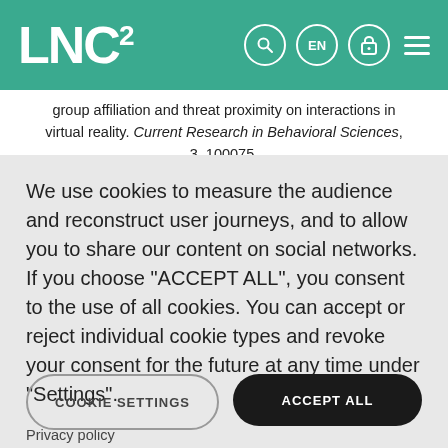LNC²
group affiliation and threat proximity on interactions in virtual reality. Current Research in Behavioral Sciences, 3, 100075.
We use cookies to measure the audience and reconstruct user journeys, and to allow you to share our content on social networks. If you choose "ACCEPT ALL", you consent to the use of all cookies. You can accept or reject individual cookie types and revoke your consent for the future at any time under "Settings".
Privacy policy
Cookie Policy
COOKIE SETTINGS
ACCEPT ALL